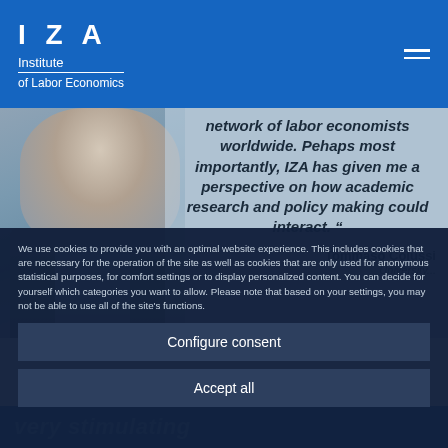IZA Institute of Labor Economics
[Figure (photo): Screenshot of IZA Institute of Labor Economics website showing a man in a blazer on the left and a pull quote by Tommaso Colussi about IZA connecting a worldwide network of labor economists, with a cookie consent banner overlay]
We use cookies to provide you with an optimal website experience. This includes cookies that are necessary for the operation of the site as well as cookies that are only used for anonymous statistical purposes, for comfort settings or to display personalized content. You can decide for yourself which categories you want to allow. Please note that based on your settings, you may not be able to use all of the site's functions.
Configure consent
Accept all
very stimulating